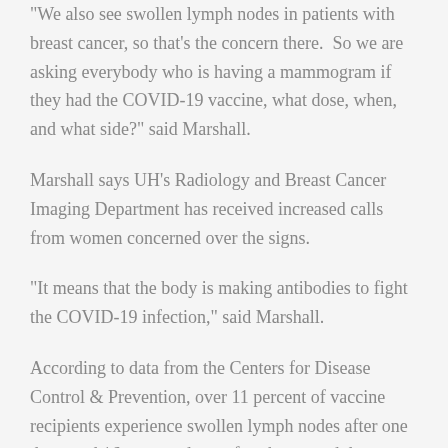"We also see swollen lymph nodes in patients with breast cancer, so that's the concern there. So we are asking everybody who is having a mammogram if they had the COVID-19 vaccine, what dose, when, and what side?" said Marshall.
Marshall says UH's Radiology and Breast Cancer Imaging Department has received increased calls from women concerned over the signs.
"It means that the body is making antibodies to fight the COVID-19 infection," said Marshall.
According to data from the Centers for Disease Control & Prevention, over 11 percent of vaccine recipients experience swollen lymph nodes after one dose, and 16 percent do so after the second dose.